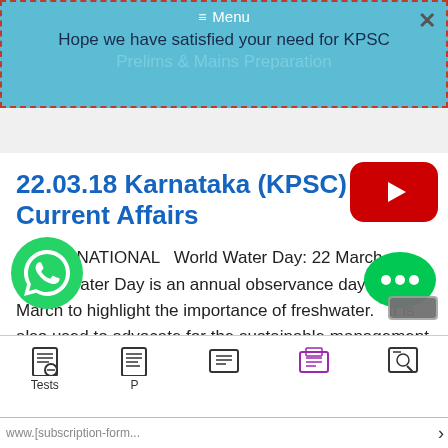≡ Menu
Hope we have satisfied your need for KPSC
22.03.18 Karnataka (KPSC) Current Affairs
INTERNATIONAL   World Water Day: 22 March   World Water Day is an annual observance day on 22 March to highlight the importance of freshwater.   It is also used to advocate for the sustainable management of freshwater resources.   The first World Water Day, designated by the United Nations, was commemorated in 1993   Read more
Tests   P...   [subscription-form...]